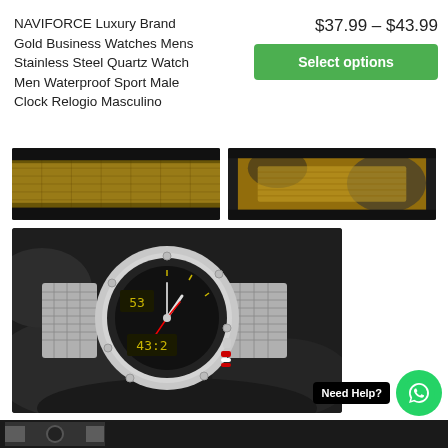NAVIFORCE Luxury Brand Gold Business Watches Mens Stainless Steel Quartz Watch Men Waterproof Sport Male Clock Relogio Masculino
$37.99 – $43.99
Select options
[Figure (photo): Close-up photo of gold mesh watch band with dark background]
[Figure (photo): Close-up photo of gold watch strap on dark rocky surface]
[Figure (photo): Main product photo of NAVIFORCE dual-display sport watch with silver stainless steel mesh bracelet on dark rocky background]
Need Help?
[Figure (logo): WhatsApp icon — green circle with white speech bubble phone logo]
[Figure (photo): Partial bottom strip showing another watch image]